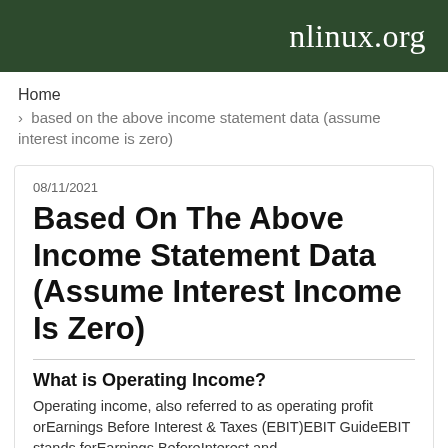nlinux.org
Home
› based on the above income statement data (assume interest income is zero)
08/11/2021
Based On The Above Income Statement Data (Assume Interest Income Is Zero)
What is Operating Income?
Operating income, also referred to as operating profit orEarnings Before Interest & Taxes (EBIT)EBIT GuideEBIT stands forEarnings BeforeInterest and